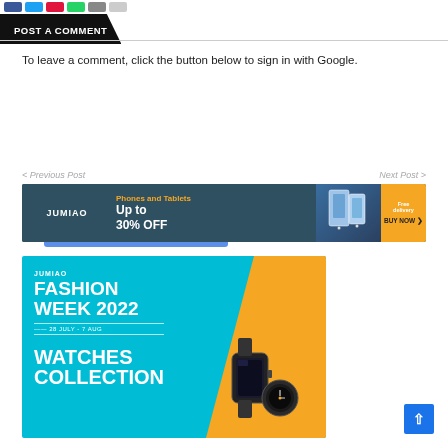POST A COMMENT
To leave a comment, click the button below to sign in with Google.
SIGN IN WITH GOOGLE
< Previous Post
Next Post >
[Figure (infographic): Jumia banner: Phones and Tablets Up to 30% OFF with BUY NOW button and phone images]
[Figure (infographic): Jumia Fashion Week 2022, 28 July - 7 Aug, Watches Collection advertisement banner in teal and orange]